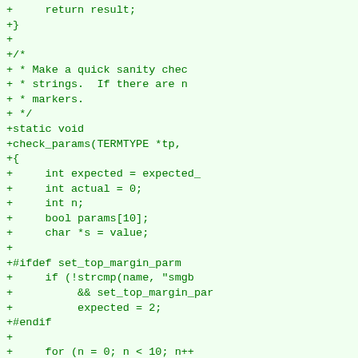[Figure (other): Diff/patch output showing C source code additions (lines prefixed with '+'), including a comment block and a static function check_params with variable declarations, preprocessor directives, and loop/control-flow logic. Green monospace text on light green background.]